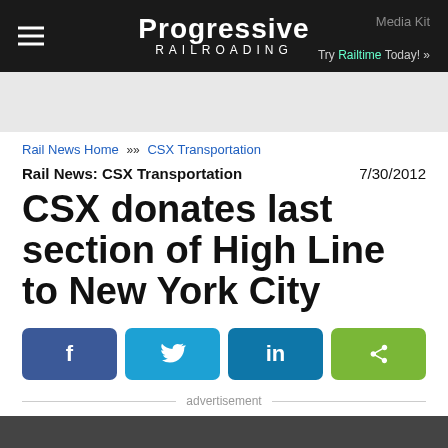Progressive RAILROADING | Media Kit | Try Railtime Today!
Rail News Home >> CSX Transportation
Rail News: CSX Transportation   7/30/2012
CSX donates last section of High Line to New York City
[Figure (other): Social share buttons: Facebook (f), Twitter (bird), LinkedIn (in), Share (<)]
advertisement
[Figure (other): Advertisement placeholder box]